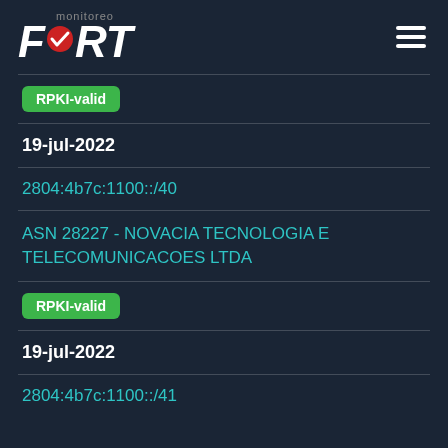[Figure (logo): Fort Monitoreo logo with checkmark icon and hamburger menu icon]
RPKI-valid
19-jul-2022
2804:4b7c:1100::/40
ASN 28227 - NOVACIA TECNOLOGIA E TELECOMUNICACOES LTDA
RPKI-valid
19-jul-2022
2804:4b7c:1100::/41